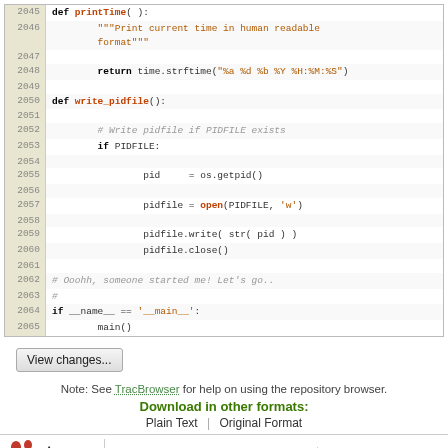[Figure (screenshot): Code viewer showing Python source lines 2045-2065 with line numbers in left gutter on beige background. Code includes def printTime(), def write_pidfile(), and main() call with syntax highlighting.]
View changes...
Note: See TracBrowser for help on using the repository browser.
Download in other formats:
Plain Text | Original Format
Powered by Trac 1.0.18 By Edgewall Software. | list all SARA OSS projects